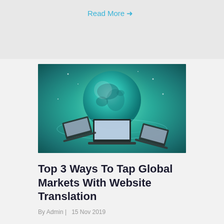Read More →
[Figure (illustration): Three laptops arranged around a glowing teal globe with network connections, on a teal gradient background]
Top 3 Ways To Tap Global Markets With Website Translation
By Admin |   15 Nov 2019
A company's digital marketing strategy must include website